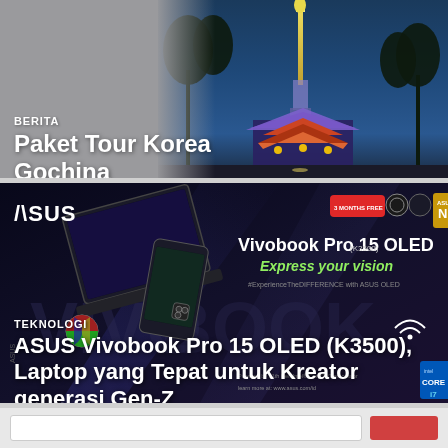[Figure (photo): Korean landmark/pagoda at night with illuminated tower in background, blue evening sky]
BERITA
Paket Tour Korea Gochina
[Figure (photo): ASUS Vivobook Pro 15 OLED (K3500) advertisement with laptop, dark background, product specs]
TEKNOLOGI
ASUS Vivobook Pro 15 OLED (K3500), Laptop yang Tepat untuk Kreator generasi Gen-Z